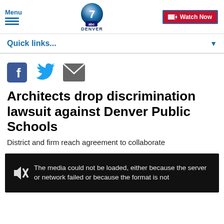Menu | Denver7 ABC | Watch Now
Quick links...
[Figure (other): Social sharing icons: Facebook, Twitter, Email]
Architects drop discrimination lawsuit against Denver Public Schools
District and firm reach agreement to collaborate
[Figure (screenshot): Video player area showing error: The media could not be loaded, either because the server or network failed or because the format is not supported.]